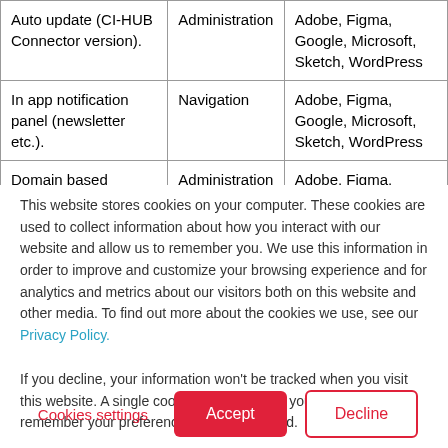| Auto update (CI-HUB Connector version). | Administration | Adobe, Figma, Google, Microsoft, Sketch, WordPress |
| In app notification panel (newsletter etc.). | Navigation | Adobe, Figma, Google, Microsoft, Sketch, WordPress |
| Domain based | Administration | Adobe, Figma, Google, |
This website stores cookies on your computer. These cookies are used to collect information about how you interact with our website and allow us to remember you. We use this information in order to improve and customize your browsing experience and for analytics and metrics about our visitors both on this website and other media. To find out more about the cookies we use, see our Privacy Policy.

If you decline, your information won't be tracked when you visit this website. A single cookie will be used in your browser to remember your preference not to be tracked.